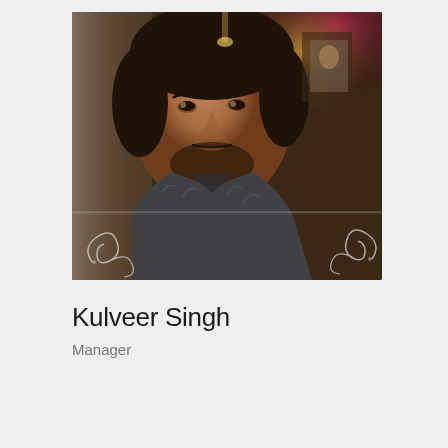[Figure (photo): Profile photo of Kulveer Singh, a man with dark hair and beard wearing a patterned shirt, taken in an indoor setting with lights. Photo has decorative scroll overlays at the bottom corners and a horizontal line effect.]
Kulveer Singh
Manager